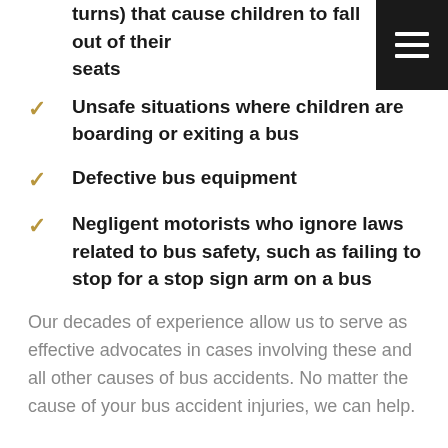turns) that cause children to fall out of their seats
Unsafe situations where children are boarding or exiting a bus
Defective bus equipment
Negligent motorists who ignore laws related to bus safety, such as failing to stop for a stop sign arm on a bus
Our decades of experience allow us to serve as effective advocates in cases involving these and all other causes of bus accidents. No matter the cause of your bus accident injuries, we can help.